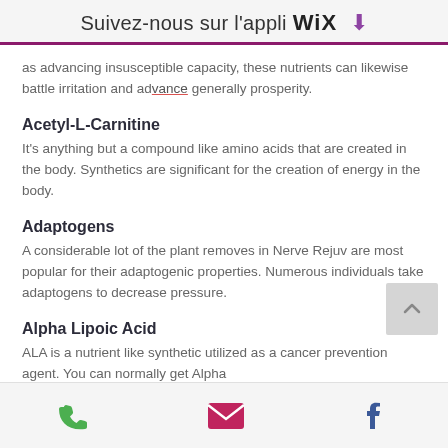Suivez-nous sur l'appli WiX ↓
as advancing insusceptible capacity, these nutrients can likewise battle irritation and advance generally prosperity.
Acetyl-L-Carnitine
It's anything but a compound like amino acids that are created in the body. Synthetics are significant for the creation of energy in the body.
Adaptogens
A considerable lot of the plant removes in Nerve Rejuv are most popular for their adaptogenic properties. Numerous individuals take adaptogens to decrease pressure.
Alpha Lipoic Acid
ALA is a nutrient like synthetic utilized as a cancer prevention agent. You can normally get Alpha
phone | email | facebook